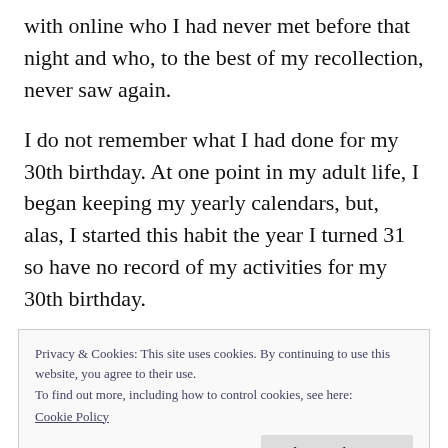with online who I had never met before that night and who, to the best of my recollection, never saw again.
I do not remember what I had done for my 30th birthday. At one point in my adult life, I began keeping my yearly calendars, but, alas, I started this habit the year I turned 31 so have no record of my activities for my 30th birthday.
Privacy & Cookies: This site uses cookies. By continuing to use this website, you agree to their use.
To find out more, including how to control cookies, see here:
Cookie Policy
Close and accept
after I moved back to Philadelphia after my